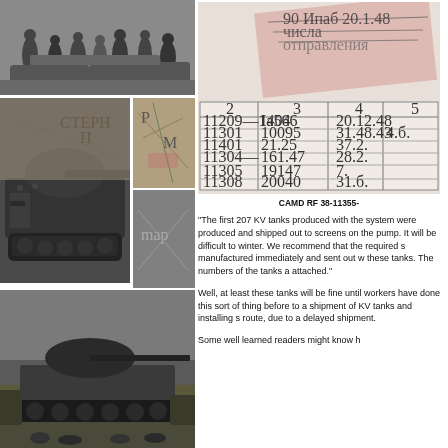[Figure (photo): Collage of black-and-white World War II photographs showing soldiers, KV tanks, and a map on the left side of the page]
[Figure (table-as-image): Scanned archival Soviet document page with a pink/red stamp overlay and a handwritten table with columns listing tank numbers and dates. Partial columns labeled 2, 3, 4, 5 with entries such as 11209-1404, Ia566, 20.12.48; 11301, 10095, 31.48.43, 4.б.; 11401, 21.25, 37.2.; 11304-, 161.47, 28.2.; 11305, 19147, 7.; 11308, 20040, 31.б.]
CAMD RF 38-11355-
"The first 207 KV tanks produced with the system were produced and shipped out to screens on the pump. It will be difficult to winter. We recommend that the required s manufactured immediately and sent out w these tanks. The numbers of the tanks a attached."
Well, at least these tanks will be fine until workers have done this sort of thing before to a shipment of KV tanks and installing s route, due to a delayed shipment.
Some well learned readers might know h